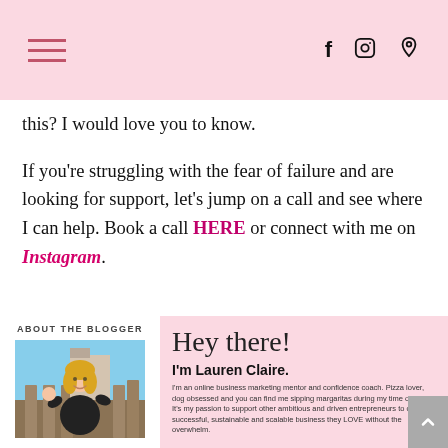Navigation header with hamburger menu and social icons (Facebook, Instagram, Pinterest)
this? I would love you to know.

If you're struggling with the fear of failure and are looking for support, let's jump on a call and see where I can help. Book a call HERE or connect with me on Instagram.
[Figure (photo): About the Blogger section with photo of Lauren Claire, a woman with blonde hair waving at camera outdoors, and text 'Hey there! I'm Lauren Claire. I'm an online business marketing mentor and confidence coach. Pizza lover, dog obsessed and you can find me sipping margaritas during my time offline. It's my passion to support other ambitious and driven entrepreneurs to create a successful, sustainable and scalable business they LOVE without the overwhelm.']